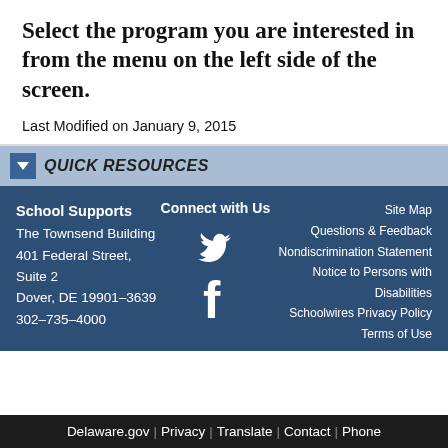Select the program you are interested in from the menu on the left side of the screen.
Last Modified on January 9, 2015
QUICK RESOURCES
School Supports
The Townsend Building
401 Federal Street, Suite 2
Dover, DE 19901-3639
302-735-4000
Connect with Us
Site Map
Questions & Feedback
Nondiscrimination Statement
Notice to Persons with Disabilities
Schoolwires Privacy Policy
Terms of Use
Delaware.gov | Privacy | Translate | Contact | Phone